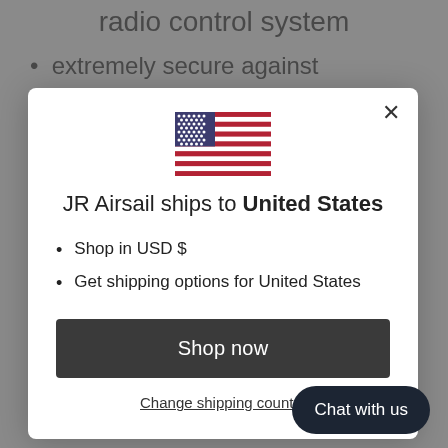radio control system
extremely secure against
[Figure (illustration): US flag emoji/icon displayed in the modal dialog]
JR Airsail ships to United States
Shop in USD $
Get shipping options for United States
Shop now
Change shipping country
Chat with us
conveniently from the transmitter